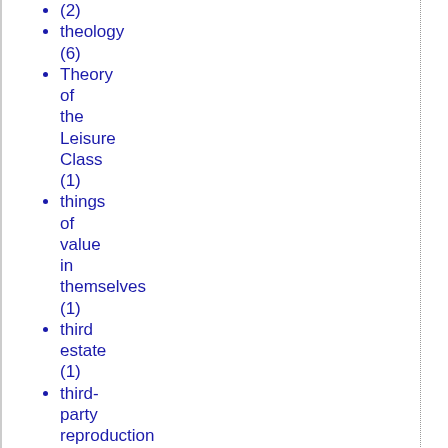(2)
theology (6)
Theory of the Leisure Class (1)
things of value in themselves (1)
third estate (1)
third-party reproduction (1)
Thomas Fleming (1)
Thomas